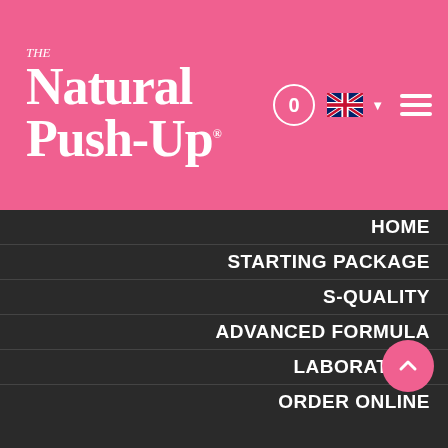The Natural Push-Up
HOME
STARTING PACKAGE
S-QUALITY
ADVANCED FORMULA
LABORATORY
ORDER ONLINE